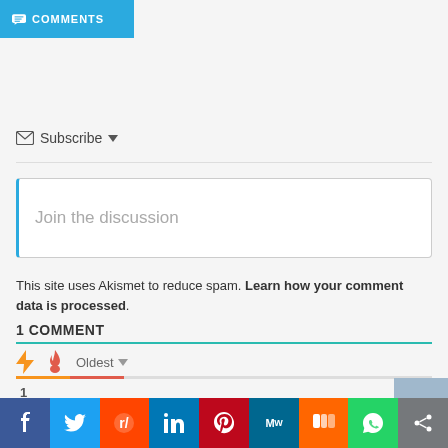COMMENTS
Subscribe
Join the discussion
This site uses Akismet to reduce spam. Learn how your comment data is processed.
1 COMMENT
Oldest
1